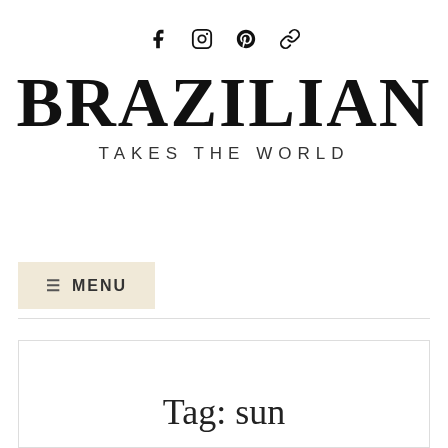[Figure (other): Social media icons: Facebook, Instagram, Pinterest, and a chain/link icon]
BRAZILIAN
TAKES THE WORLD
≡ MENU
Tag: sun